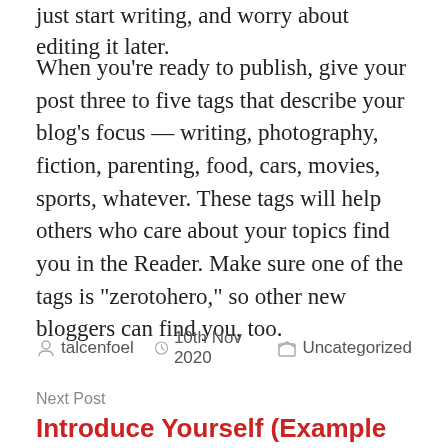just start writing, and worry about editing it later.
When you're ready to publish, give your post three to five tags that describe your blog's focus — writing, photography, fiction, parenting, food, cars, movies, sports, whatever. These tags will help others who care about your topics find you in the Reader. Make sure one of the tags is “zerotohero,” so other new bloggers can find you, too.
By talcenfoel  10th Nov 2020  Uncategorized
Next Post
Introduce Yourself (Example Post)